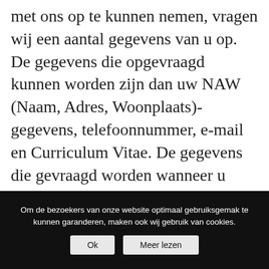met ons op te kunnen nemen, vragen wij een aantal gegevens van u op. De gegevens die opgevraagd kunnen worden zijn dan uw NAW (Naam, Adres, Woonplaats)-gegevens, telefoonnummer, e-mail en Curriculum Vitae. De gegevens die gevraagd worden wanneer u (online) solliciteert, worden gebruikt om uw sollicitatie te verwerken, te beoordelen, te beantwoorden en eventueel tijdens een verdere verwerking in het kader van een (verleende)
Om de bezoekers van onze website optimaal gebruiksgemak te kunnen garanderen, maken ook wij gebruik van cookies.
Ok   Meer lezen